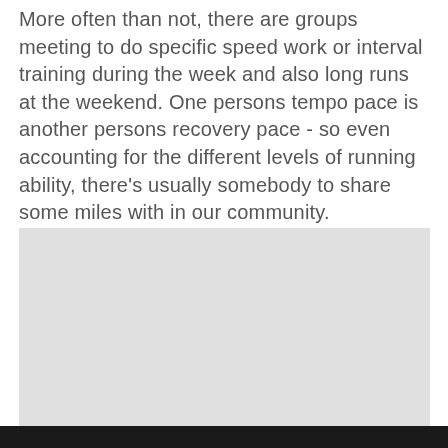More often than not, there are groups meeting to do specific speed work or interval training during the week and also long runs at the weekend. One persons tempo pace is another persons recovery pace - so even accounting for the different levels of running ability, there's usually somebody to share some miles with in our community.
[Figure (other): Light gray box with bold orange uppercase text 'SO FAR THIS WEEK...' and a gray upward-pointing arrow icon in the lower right corner]